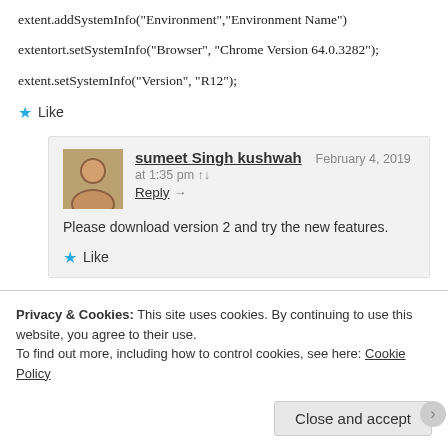extent.addSystemInfo("Environment","Environment Name")
extentort.setSystemInfo("Browser", "Chrome Version 64.0.3282");
extent.setSystemInfo("Version", "R12");
★ Like
sumeet Singh kushwah   February 4, 2019 at 1:35 pm
Reply →
Please download version 2 and try the new features.
★ Like
Sharad   February 7, 2019 at 1:45 pm
Hello Sumeet, Could you please tell me the exact
Privacy & Cookies: This site uses cookies. By continuing to use this website, you agree to their use.
To find out more, including how to control cookies, see here: Cookie Policy
Close and accept